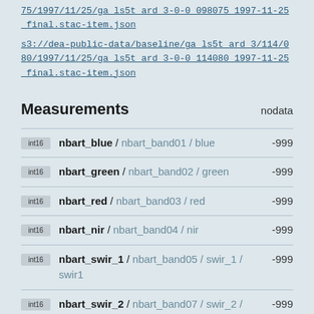75/1997/11/25/ga_ls5t_ard_3-0-0_098075_1997-11-25_final.stac-item.json
s3://dea-public-data/baseline/ga_ls5t_ard_3/114/080/1997/11/25/ga_ls5t_ard_3-0-0_114080_1997-11-25_final.stac-item.json
Measurements
int16  nbart_blue / nbart_band01 / blue  -999
int16  nbart_green / nbart_band02 / green  -999
int16  nbart_red / nbart_band03 / red  -999
int16  nbart_nir / nbart_band04 / nir  -999
int16  nbart_swir_1 / nbart_band05 / swir_1 / swir1  -999
int16  nbart_swir_2 / nbart_band07 / swir_2 / swir2  -999
uint8  oa_fmask / fmask  0